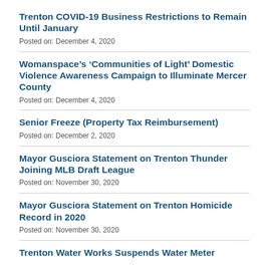Trenton COVID-19 Business Restrictions to Remain Until January
Posted on: December 4, 2020
Womanspace’s ‘Communities of Light’ Domestic Violence Awareness Campaign to Illuminate Mercer County
Posted on: December 4, 2020
Senior Freeze (Property Tax Reimbursement)
Posted on: December 2, 2020
Mayor Gusciora Statement on Trenton Thunder Joining MLB Draft League
Posted on: November 30, 2020
Mayor Gusciora Statement on Trenton Homicide Record in 2020
Posted on: November 30, 2020
Trenton Water Works Suspends Water Meter